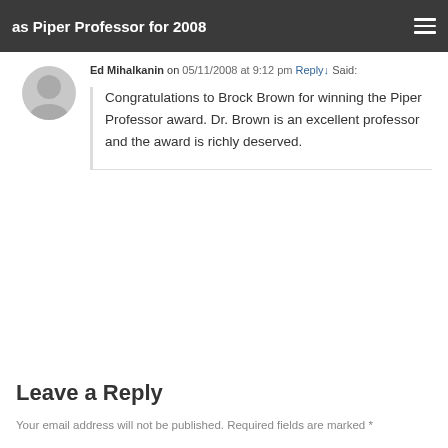as Piper Professor for 2008
Ed Mihalkanin on 05/11/2008 at 9:12 pm Said: Reply↓
Congratulations to Brock Brown for winning the Piper Professor award. Dr. Brown is an excellent professor and the award is richly deserved.
Leave a Reply
Your email address will not be published. Required fields are marked *